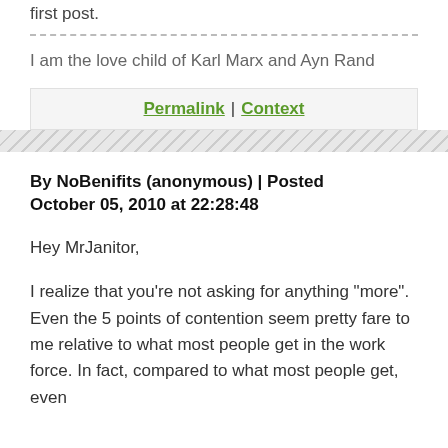first post.
I am the love child of Karl Marx and Ayn Rand
Permalink | Context
By NoBenifits (anonymous) | Posted October 05, 2010 at 22:28:48
Hey MrJanitor,
I realize that you're not asking for anything "more". Even the 5 points of contention seem pretty fare to me relative to what most people get in the work force. In fact, compared to what most people get, even